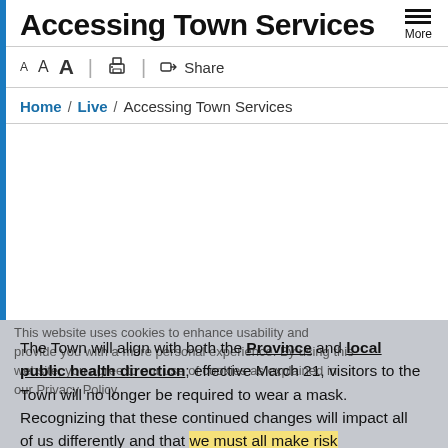Accessing Town Services
A A A | [print] | [share] Share
Home / Live / Accessing Town Services
This website uses cookies to enhance usability and provide you with a more personal experience. By using this website, you agree to our use of cookies as explained in our Privacy Policy.
The Town will align with both the Province and local public health direction; effective March 21, visitors to the Town will no longer be required to wear a mask. Recognizing that these continued changes will impact all of us differently and that we must all make risk assessments based on our own personal situations, we encourage anyone that wants to wear a mask to do so.